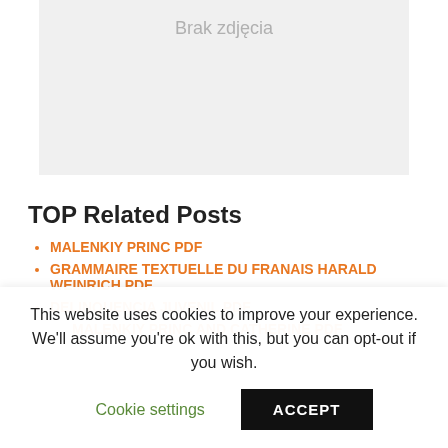[Figure (other): Gray placeholder image area with text 'Brak zdjęcia' (No photo in Polish)]
TOP Related Posts
MALENKIY PRINC PDF
GRAMMAIRE TEXTUELLE DU FRANAIS HARALD WEINRICH PDF
DELINQUENCIA JUVENIL PDF
This website uses cookies to improve your experience. We'll assume you're ok with this, but you can opt-out if you wish.
Cookie settings | ACCEPT